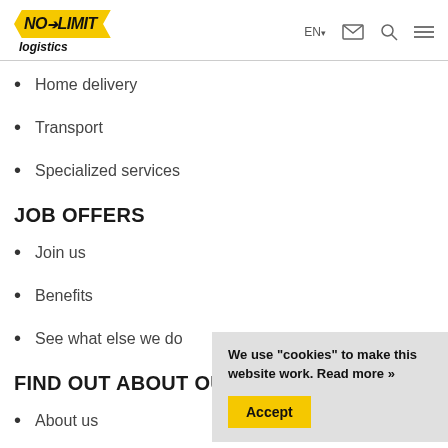NO LIMIT logistics | EN | [mail] [search] [menu]
Home delivery
Transport
Specialized services
JOB OFFERS
Join us
Benefits
See what else we do
FIND OUT ABOUT OUR COMPANY
About us
We use "cookies" to make this website work. Read more »
Accept